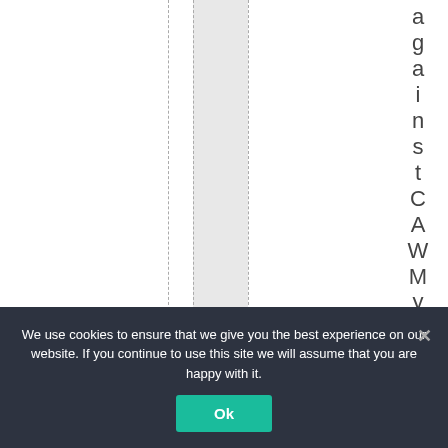against CAWMy et gove
We use cookies to ensure that we give you the best experience on our website. If you continue to use this site we will assume that you are happy with it.